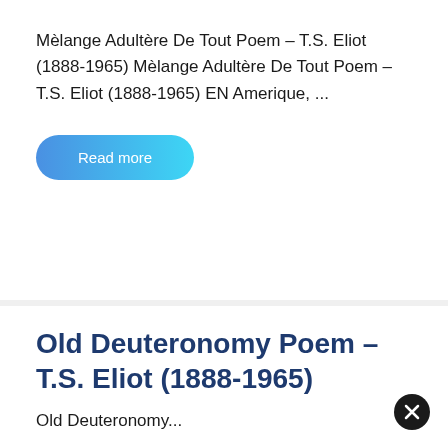Mèlange Adultère De Tout Poem – T.S. Eliot (1888-1965) Mèlange Adultère De Tout Poem – T.S. Eliot (1888-1965) EN Amerique, ...
Read more
Old Deuteronomy Poem – T.S. Eliot (1888-1965)
Old Deuteronomy...